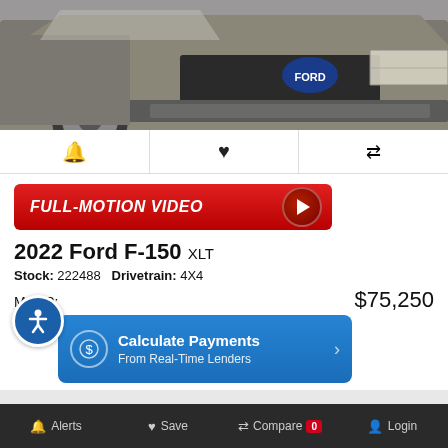[Figure (photo): Front view of a 2022 Ford F-150 XLT pickup truck parked on a checkered tile floor, showing the front bumper, grille, headlights, and partial wheel.]
FULL-MOTION VIDEO
2022 Ford F-150 XLT
Stock: 222488   Drivetrain: 4X4
MSRP:   $75,250
Calculate Payments
From Real-Time Lenders
Alerts  Save  Compare 0  Login